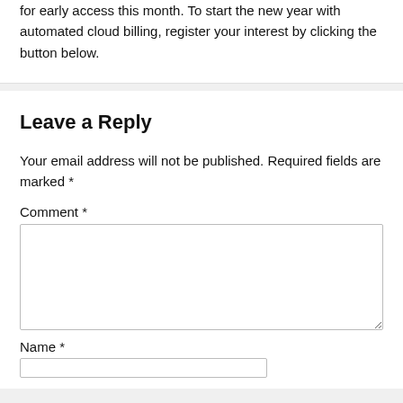for early access this month. To start the new year with automated cloud billing, register your interest by clicking the button below.
Leave a Reply
Your email address will not be published. Required fields are marked *
Comment *
Name *